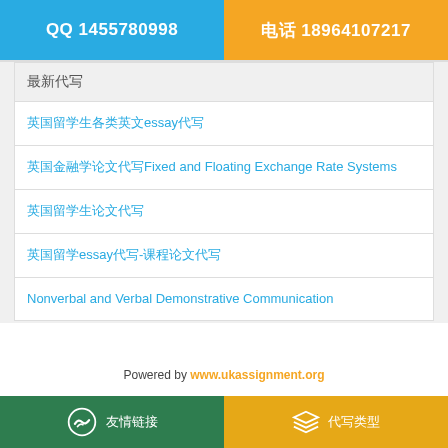QQ 1455780998 | 电话 18964107217
最新代写
英国留学生各类英文essay代写
英国金融学论文代写Fixed and Floating Exchange Rate Systems
英国留学生论文代写
英国留学essay代写-课程论文代写
Nonverbal and Verbal Demonstrative Communication
Powered by www.ukassignment.org
友情链接 | 代写类型